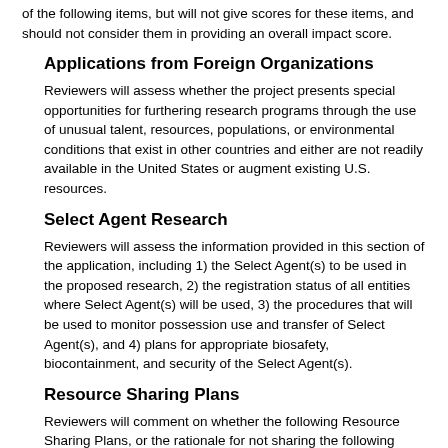of the following items, but will not give scores for these items, and should not consider them in providing an overall impact score.
Applications from Foreign Organizations
Reviewers will assess whether the project presents special opportunities for furthering research programs through the use of unusual talent, resources, populations, or environmental conditions that exist in other countries and either are not readily available in the United States or augment existing U.S. resources.
Select Agent Research
Reviewers will assess the information provided in this section of the application, including 1) the Select Agent(s) to be used in the proposed research, 2) the registration status of all entities where Select Agent(s) will be used, 3) the procedures that will be used to monitor possession use and transfer of Select Agent(s), and 4) plans for appropriate biosafety, biocontainment, and security of the Select Agent(s).
Resource Sharing Plans
Reviewers will comment on whether the following Resource Sharing Plans, or the rationale for not sharing the following